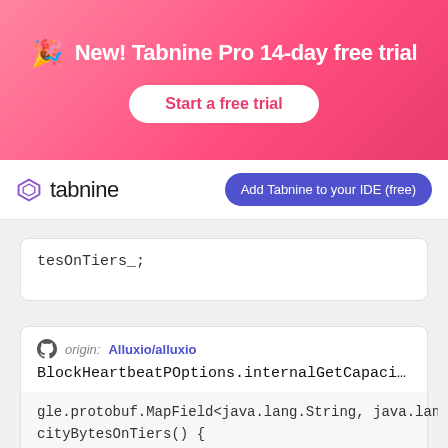[Figure (infographic): Pink gradient banner with party emoji, text 'New! Tabnine Pro 14-day free trial', and a white 'Start a free trial' button]
[Figure (screenshot): Navigation bar with Tabnine logo on left and 'Add Tabnine to your IDE (free)' button on right]
tesOnTiers_;
origin: Alluxio/alluxio
BlockHeartbeatPOptions.internalGetCapacityBytes...
gle.protobuf.MapField<java.lang.String, java.lang.Long
cityBytesOnTiers() {
tesOnTiers_ == null) {
ogle.protobuf.MapField.emptyMapField(